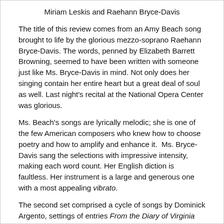Miriam Leskis and Raehann Bryce-Davis
The title of this review comes from an Amy Beach song brought to life by the glorious mezzo-soprano Raehann Bryce-Davis. The words, penned by Elizabeth Barrett Browning, seemed to have been written with someone just like Ms. Bryce-Davis in mind. Not only does her singing contain her entire heart but a great deal of soul as well. Last night's recital at the National Opera Center was glorious.
Ms. Beach's songs are lyrically melodic; she is one of the few American composers who knew how to choose poetry and how to amplify and enhance it.  Ms. Bryce-Davis sang the selections with impressive intensity, making each word count. Her English diction is faultless. Her instrument is a large and generous one with a most appealing vibrato.
The second set comprised a cycle of songs by Dominick Argento, settings of entries From the Diary of Virginia Woolf, entries from the period between the two World Wars. We would have no desire to read the ramblings of a disordered mind, nor could we imagine setting such stuff to music, but Ms. Bryce-Davis is such a compelling storyteller that we listened with rapt attention. We couldn't help but wondering if any operas contain mad scenes for mezzos! There surely must be something like that in the singer's future.
The second half of the program was far more in line with our taste.  We generally think of sopranos when we think of Richard Strauss' songs but this artist's special sound, along with her vitality and commitment, made